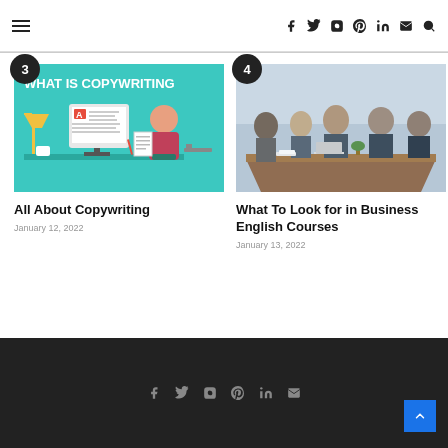Navigation header with hamburger menu and social icons: f, twitter, instagram, pinterest, in, mail, search
[Figure (illustration): Illustration of a person at a desk with a computer showing 'WHAT IS COPYWRITING' text, with a lamp and coffee cup. Teal background. Badge number 3.]
All About Copywriting
January 12, 2022
[Figure (photo): Photo of a business meeting with several people in formal attire seated around a table. Badge number 4.]
What To Look for in Business English Courses
January 13, 2022
Footer with social icons: facebook, twitter, instagram, pinterest, linkedin, mail. Back to top button.